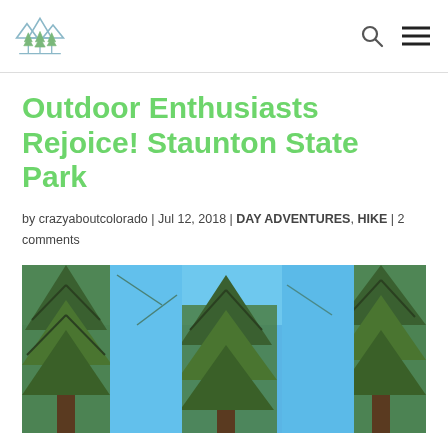crazyaboutcolorado logo, search icon, menu icon
Outdoor Enthusiasts Rejoice! Staunton State Park
by crazyaboutcolorado | Jul 12, 2018 | DAY ADVENTURES, HIKE | 2 comments
[Figure (photo): Photo of tall pine trees against a bright blue sky, taken looking upward at Staunton State Park]